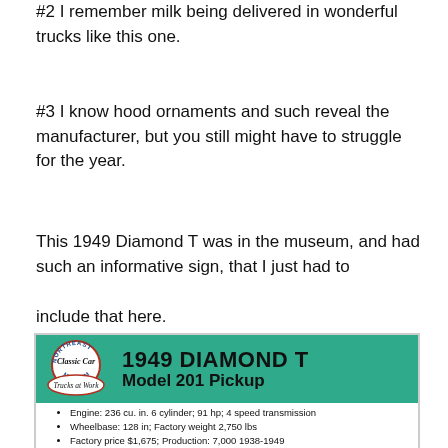#2  I remember milk being delivered in wonderful trucks like this one.
#3  I know hood ornaments and such reveal the manufacturer, but you still might have to struggle for the year.
This 1949 Diamond T was in the museum, and had such an informative sign, that I just had to
include that here.
[Figure (photo): Museum sign for 1949 Diamond T Model 201 Pickup from Northeast Classic Car Museum, Trucks at Work exhibit. Details: Engine 236 cu. in. 6 cylinder 91 hp 4 speed transmission; Wheelbase 128 in; Factory weight 2,750 lbs; Factory price $1,675; Production: 7,000 1938-1949]